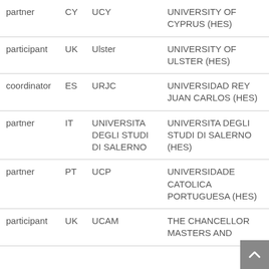| partner | CY | UCY | UNIVERSITY OF CYPRUS (HES) |
| participant | UK | Ulster | UNIVERSITY OF ULSTER (HES) |
| coordinator | ES | URJC | UNIVERSIDAD REY JUAN CARLOS (HES) |
| partner | IT | UNIVERSITA DEGLI STUDI DI SALERNO | UNIVERSITA DEGLI STUDI DI SALERNO (HES) |
| partner | PT | UCP | UNIVERSIDADE CATOLICA PORTUGUESA (HES) |
| participant | UK | UCAM | THE CHANCELLOR MASTERS AND |